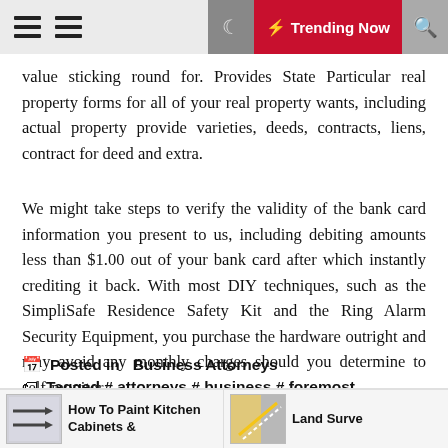Trending Now
value sticking round for. Provides State Particular real property forms for all of your real property wants, including actual property provide varieties, deeds, contracts, liens, contract for deed and extra.
We might take steps to verify the validity of the bank card information you present to us, including debiting amounts less than $1.00 out of your bank card after which instantly crediting it back. With most DIY techniques, such as the SimpliSafe Residence Safety Kit and the Ring Alarm Security Equipment, you purchase the hardware outright and may avoid any monthly charges should you determine to self-monitor.
Posted in  Business Attorneys
Tagged # attorneys # business # foremost
How To Paint Kitchen Cabinets &
Land Surve